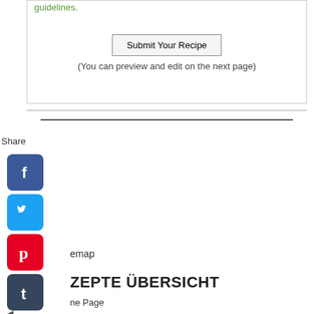guidelines.
Submit Your Recipe
(You can preview and edit on the next page)
Share
[Figure (illustration): Social media share icons: Facebook, Twitter, Pinterest, Tumblr, Reddit, WhatsApp, Messenger]
emap
ZEPTE ÜBERSICHT
ne Page
◄ Casseroles